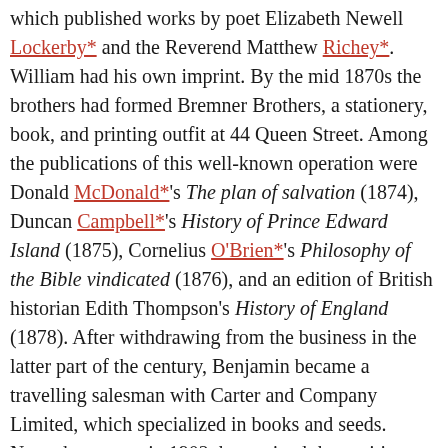which published works by poet Elizabeth Newell Lockerby* and the Reverend Matthew Richey*. William had his own imprint. By the mid 1870s the brothers had formed Bremner Brothers, a stationery, book, and printing outfit at 44 Queen Street. Among the publications of this well-known operation were Donald McDonald*'s The plan of salvation (1874), Duncan Campbell*'s History of Prince Edward Island (1875), Cornelius O'Brien*'s Philosophy of the Bible vindicated (1876), and an edition of British historian Edith Thompson's History of England (1878). After withdrawing from the business in the latter part of the century, Benjamin became a travelling salesman with Carter and Company Limited, which specialized in books and seeds. Named a partner in 1902, he retained the position until his retirement around 1927.
Within the Charlottetown community, Bremner was a leading member of the Independent Order of Odd Fellows, first in St Lawrence Lodge No.8 and later in Wildey Lodge No.27. He